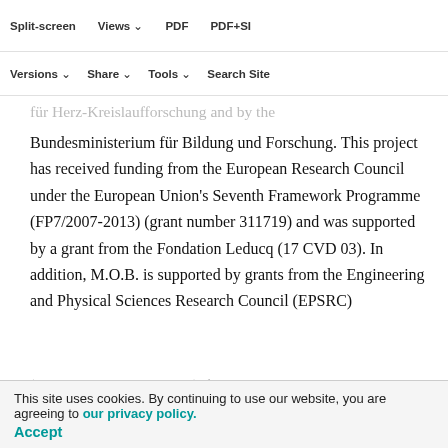Split-screen  Views  PDF  PDF+SI
Versions  Share  Tools  Search Site
für Herz-Kreislaufforschung and by the Bundesministerium für Bildung und Forschung. This project has received funding from the European Research Council under the European Union's Seventh Framework Programme (FP7/2007-2013) (grant number 311719) and was supported by a grant from the Fondation Leducq (17 CVD 03). In addition, M.O.B. is supported by grants from the Engineering and Physical Sciences Research Council (EPSRC)
(EP/R029598/1, EP/T008806/1), the European Union's Horizon 2020 Framework Programme under grant agreement 801423, and the British Heart Foundation and The Alan Turing Institute (which receives core
This site uses cookies. By continuing to use our website, you are agreeing to our privacy policy.
Accept